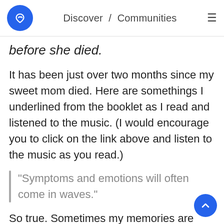Discover / Communities
before she died.
It has been just over two months since my sweet mom died. Here are somethings I underlined from the booklet as I read and listened to the music. (I would encourage you to click on the link above and listen to the music as you read.)
"Symptoms and emotions will often come in waves."
So true. Sometimes my memories are ha and of good times. Sometime I just really